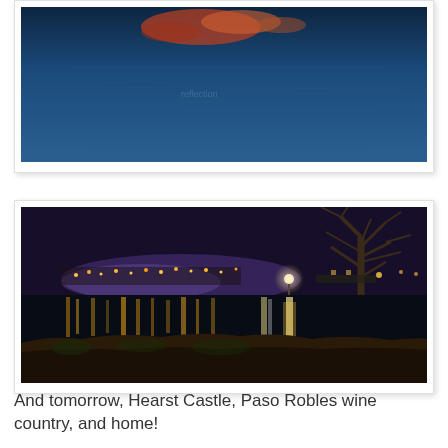[Figure (photo): Top portion of a photo showing water reflections with colorful lights, blue water surface visible, partial view of a nighttime or twilight waterfront scene.]
[Figure (photo): Night photograph of a harbor or marina with city lights and their reflections on the water. A bare winter tree is visible on the right side. Warm golden lights illuminate the waterfront and reflect off the dark water. Rocky shoreline in the foreground.]
And tomorrow, Hearst Castle, Paso Robles wine country, and home!